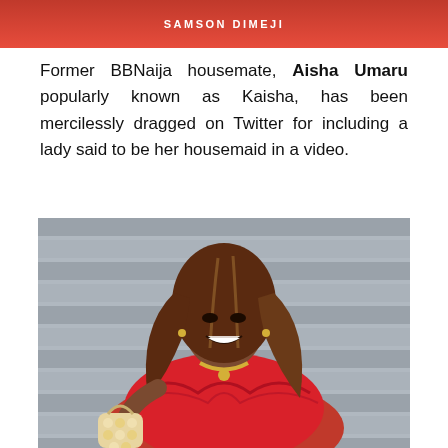SAMSON DIMEJI
Former BBNaija housemate, Aisha Umaru popularly known as Kaisha, has been mercilessly dragged on Twitter for including a lady said to be her housemaid in a video.
[Figure (photo): A woman in a red ruffled off-shoulder top holding a pearl beaded handbag, smiling, with long brown hair, gold necklace, photographed against a slatted grey background.]